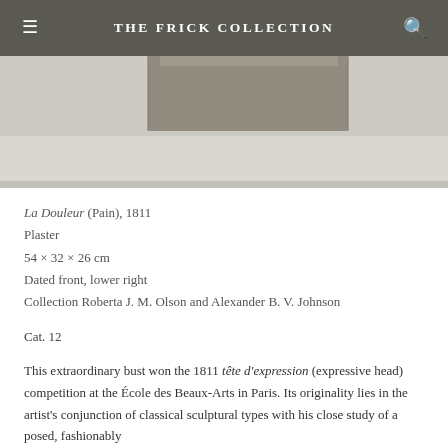THE FRICK COLLECTION
[Figure (photo): Partial photograph of a plaster sculpture bust showing textured surface details against a light gray background]
La Douleur (Pain), 1811
Plaster
54 × 32 × 26 cm
Dated front, lower right
Collection Roberta J. M. Olson and Alexander B. V. Johnson
Cat. 12
This extraordinary bust won the 1811 tête d'expression (expressive head) competition at the École des Beaux-Arts in Paris. Its originality lies in the artist's conjunction of classical sculptural types with his close study of a posed, fashionably